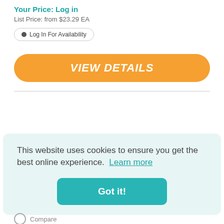Your Price: Log in
List Price: from $23.29 EA
● Log In For Availability
VIEW DETAILS
This website uses cookies to ensure you get the best online experience. Learn more
Got it!
Compare